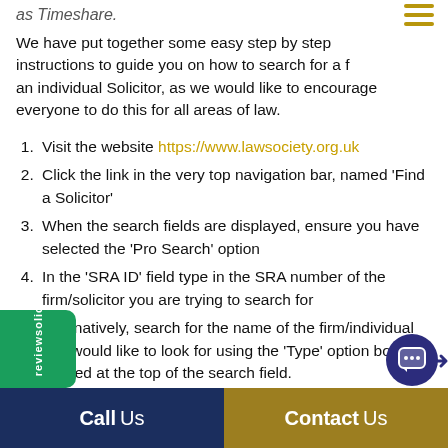as Timeshare.
We have put together some easy step by step instructions to guide you on how to search for a [firm/] an individual Solicitor, as we would like to encourage everyone to do this for all areas of law.
Visit the website https://www.lawsociety.org.uk
Click the link in the very top navigation bar, named 'Find a Solicitor'
When the search fields are displayed, ensure you have selected the 'Pro Search' option
In the 'SRA ID' field type in the SRA number of the firm/solicitor you are trying to search for
Alternatively, search for the name of the firm/individual you would like to look for using the 'Type' option boxes located at the top of the search field.
Call Us    Contact Us